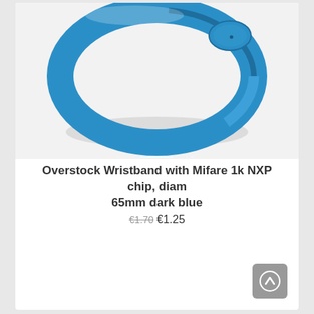[Figure (photo): A blue silicone RFID wristband (round, oval shape) photographed on a white/light grey background. The wristband is a medium-blue color with a slightly thicker oval section containing the chip.]
Overstock Wristband with Mifare 1k NXP chip, diam 65mm dark blue
€1.70 €1.25